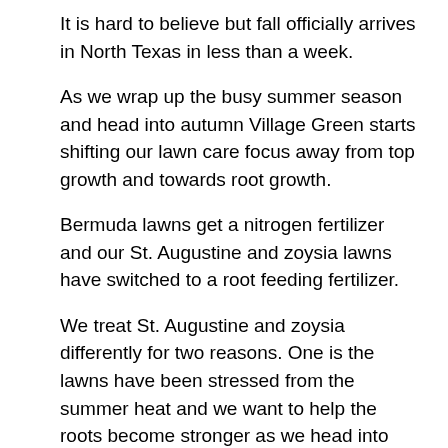It is hard to believe but fall officially arrives in North Texas in less than a week.
As we wrap up the busy summer season and head into autumn Village Green starts shifting our lawn care focus away from top growth and towards root growth.
Bermuda lawns get a nitrogen fertilizer and our St. Augustine and zoysia lawns have switched to a root feeding fertilizer.
We treat St. Augustine and zoysia differently for two reasons. One is the lawns have been stressed from the summer heat and we want to help the roots become stronger as we head into fall.
The second reason is St. Augustine and zoysia are both prone to a fungus called brown patch